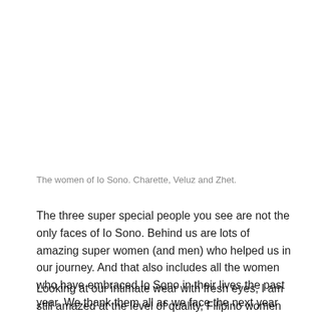The women of Io Sono. Charette, Veluz and Zhet.
The three super special people you see are not the only faces of Io Sono. Behind us are lots of amazing super women (and men) who helped us in our journey. And that also includes all the women who have embraced Io Sono in their lives the past year. We thank them all as we face the next year stronger, better, and brighter.
Looking at our intimate wear with fresh eyes, I am still amazed at the level of quality, Filipino women can bring to the world. Io